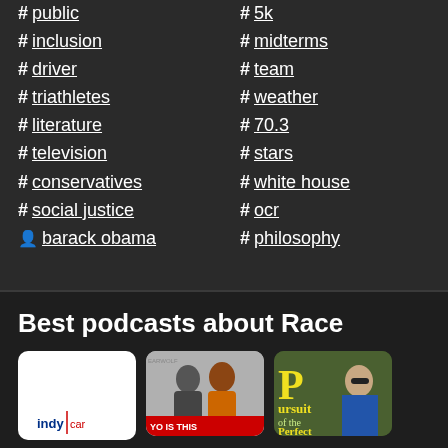# public
# inclusion
# driver
# triathletes
# literature
# television
# conservatives
# social justice
person barack obama
# 5k
# midterms
# team
# weather
# 70.3
# stars
# white house
# ocr
# philosophy
Best podcasts about Race
[Figure (screenshot): Three podcast cover art cards: first is white with IndyCar logo, second shows two people (man and woman) on grey background with red banner 'YO IS THIS', third shows green background with yellow text 'Pursuit Perfect' and a man in blue shirt with sunglasses.]